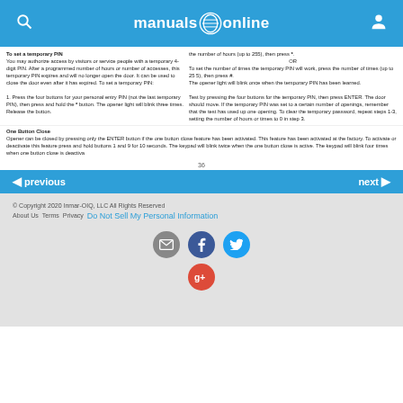manuals online
To set a temporary PIN
You may authorize access by visitors or service people with a temporary 4-digit PIN. After a programmed number of hours or number of accesses, this temporary PIN expires and will no longer open the door. It can be used to close the door even after it has expired. To set a temporary PIN:
1. Press the four buttons for your personal entry PIN (not the last temporary PIN), then press and hold the * button. The opener light will blink three times. Release the button.
the number of hours (up to 255), then press *.
OR
To set the number of times the temporary PIN will work, press the number of times (up to 255), then press #.
The opener light will blink once when the temporary PIN has been learned.
Test by pressing the four buttons for the temporary PIN, then press ENTER. The door should move. If the temporary PIN was set to a certain number of openings, remember that the test has used up one opening. To clear the temporary password, repeat steps 1-3, setting the number of hours or times to 0 in step 3.
One Button Close
Opener can be closed by pressing only the ENTER button if the one button close feature has been activated. This feature has been activated at the factory. To activate or deactivate this feature press and hold buttons 1 and 9 for 10 seconds. The keypad will blink twice when the one button close is active. The keypad will blink four times when one button close is deactivated.
36
previous
next
© Copyright 2020 Inmar-OIQ, LLC All Rights Reserved
About Us  Terms  Privacy  Do Not Sell My Personal Information